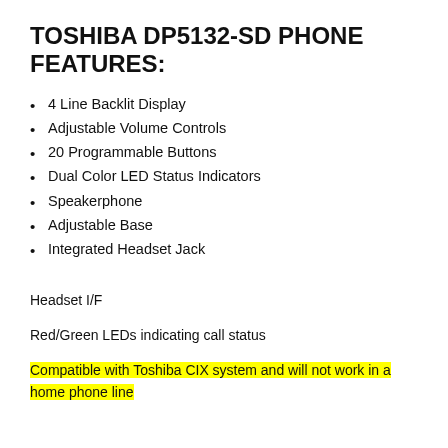TOSHIBA DP5132-SD PHONE FEATURES:
4 Line Backlit Display
Adjustable Volume Controls
20 Programmable Buttons
Dual Color LED Status Indicators
Speakerphone
Adjustable Base
Integrated Headset Jack
Headset I/F
Red/Green LEDs indicating call status
Compatible with Toshiba CIX system and will not work in a home phone line